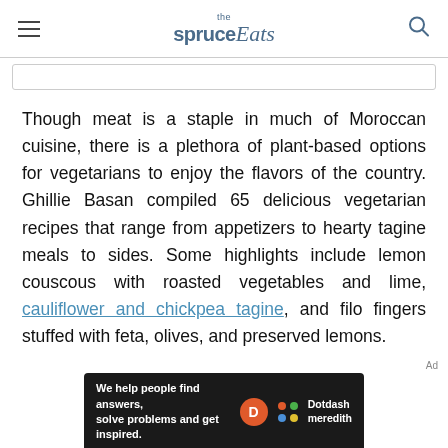the spruce Eats
[Figure (screenshot): Search bar input field]
Though meat is a staple in much of Moroccan cuisine, there is a plethora of plant-based options for vegetarians to enjoy the flavors of the country. Ghillie Basan compiled 65 delicious vegetarian recipes that range from appetizers to hearty tagine meals to sides. Some highlights include lemon couscous with roasted vegetables and lime, cauliflower and chickpea tagine, and filo fingers stuffed with feta, olives, and preserved lemons.
[Figure (logo): Dotdash Meredith advertisement banner — 'We help people find answers, solve problems and get inspired.']